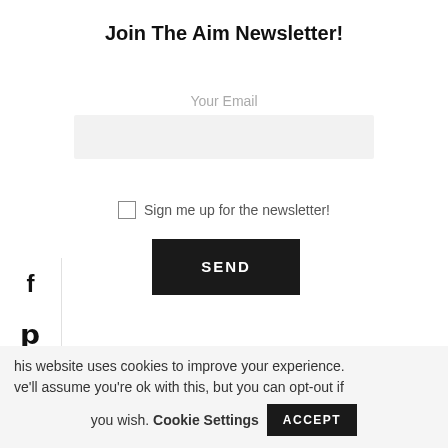Join The Aim Newsletter!
Your Email
Sign me up for the newsletter!
SEND
[Figure (infographic): Social media sidebar with Facebook, Pinterest, Instagram, LinkedIn, and heart icons arranged vertically on the left edge]
This website uses cookies to improve your experience. We'll assume you're ok with this, but you can opt-out if you wish. Cookie Settings  ACCEPT